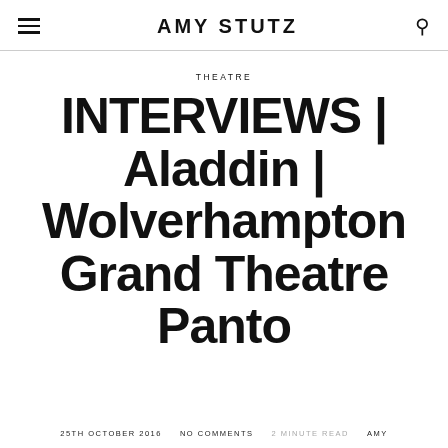AMY STUTZ
THEATRE
INTERVIEWS | Aladdin | Wolverhampton Grand Theatre Panto
25TH OCTOBER 2016   NO COMMENTS   2 MINUTE READ   AMY